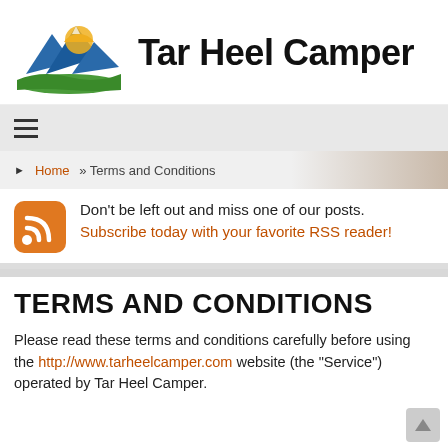[Figure (logo): Tar Heel Camper logo: mountains with sun and green fields, with site name 'Tar Heel Camper' in bold black text]
≡ (hamburger menu icon)
▶ Home » Terms and Conditions
Don't be left out and miss one of our posts. Subscribe today with your favorite RSS reader!
TERMS AND CONDITIONS
Please read these terms and conditions carefully before using the http://www.tarheelcamper.com website (the "Service") operated by Tar Heel Camper.